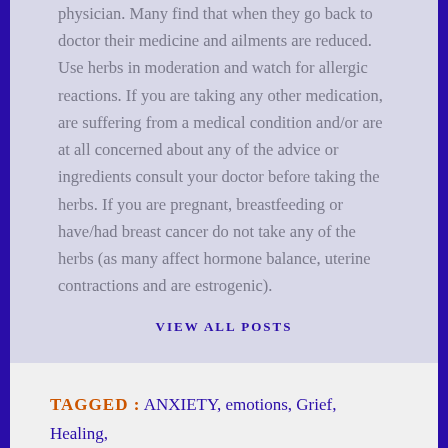physician. Many find that when they go back to doctor their medicine and ailments are reduced. Use herbs in moderation and watch for allergic reactions. If you are taking any other medication, are suffering from a medical condition and/or are at all concerned about any of the advice or ingredients consult your doctor before taking the herbs. If you are pregnant, breastfeeding or have/had breast cancer do not take any of the herbs (as many affect hormone balance, uterine contractions and are estrogenic).
VIEW ALL POSTS
TAGGED : ANXIETY, emotions, Grief, Healing, insight, Insights, just do it, motivation, sadness,